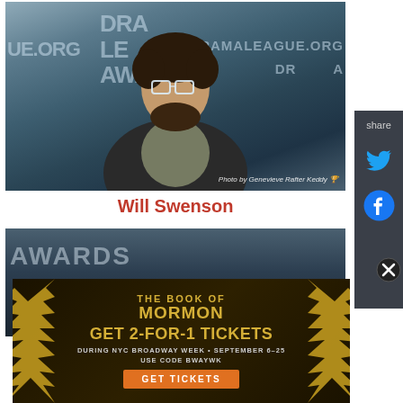[Figure (photo): A man with curly dark hair and glasses wearing a dark blazer over a floral shirt, standing in front of a Drama League Awards backdrop. Photo credit: Genevieve Rafter Keddy]
Will Swenson
[Figure (photo): Partially visible second photo showing a person in front of a Drama League Awards backdrop, mostly dark background]
[Figure (infographic): Advertisement: THE BOOK OF MORMON - GET 2-FOR-1 TICKETS DURING NYC BROADWAY WEEK • SEPTEMBER 6-25 USE CODE BWAYWK - GET TICKETS button. Gold starburst design on dark background.]